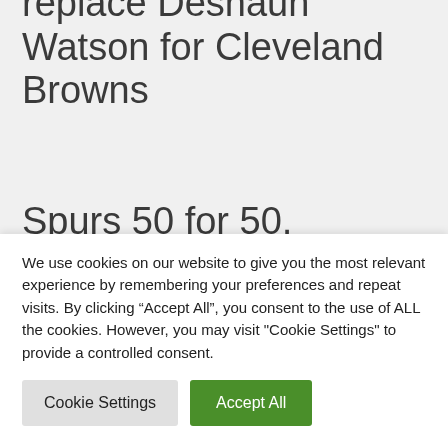replace Deshaun Watson for Cleveland Browns
Spurs 50 for 50, Number 39- Chuck Person
Braves defeat Astros in opener
We use cookies on our website to give you the most relevant experience by remembering your preferences and repeat visits. By clicking “Accept All”, you consent to the use of ALL the cookies. However, you may visit "Cookie Settings" to provide a controlled consent.